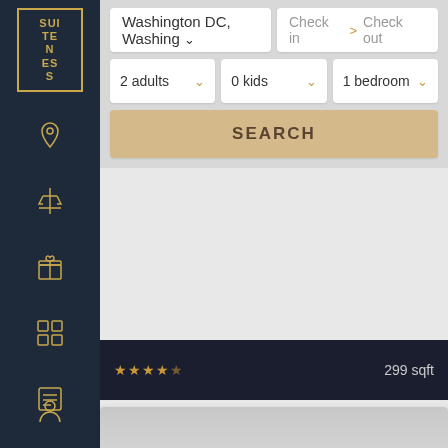[Figure (screenshot): Suiteness logo on dark navy sidebar]
[Figure (screenshot): Sidebar navigation icons: location pin, airport tower, gift, grid/hotel, list, profile]
Washington DC, Washing
Check in > Check out
2 adults
0 kids
1 bedroom
SEARCH
299 sqft
Accessible Traditional Room 1 K
OMNI SHOREHAM HOTEL
299 sqft